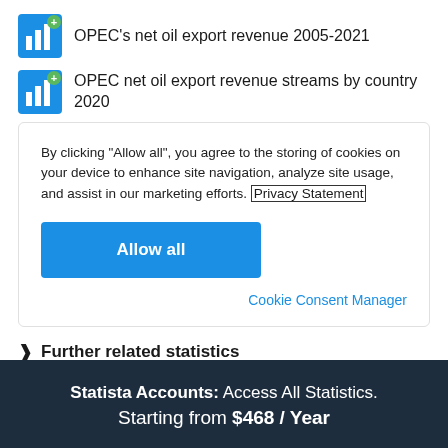OPEC's net oil export revenue 2005-2021
OPEC net oil export revenue streams by country 2020
By clicking "Allow all", you agree to the storing of cookies on your device to enhance site navigation, analyze site usage, and assist in our marketing efforts. Privacy Statement
Allow all
Cookie Consent Manager
Further related statistics
Statista Accounts: Access All Statistics. Starting from $468 / Year